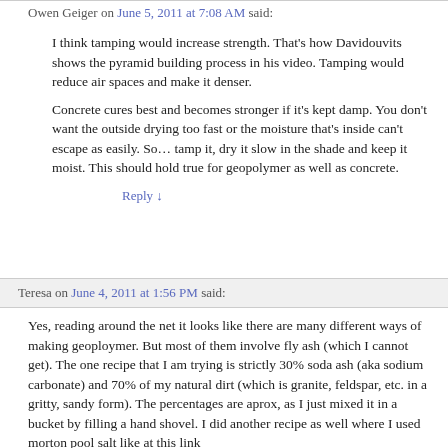Owen Geiger on June 5, 2011 at 7:08 AM said:
I think tamping would increase strength. That's how Davidouvits shows the pyramid building process in his video. Tamping would reduce air spaces and make it denser.
Concrete cures best and becomes stronger if it's kept damp. You don't want the outside drying too fast or the moisture that's inside can't escape as easily. So… tamp it, dry it slow in the shade and keep it moist. This should hold true for geopolymer as well as concrete.
Reply ↓
Teresa on June 4, 2011 at 1:56 PM said:
Yes, reading around the net it looks like there are many different ways of making geoploymer. But most of them involve fly ash (which I cannot get). The one recipe that I am trying is strictly 30% soda ash (aka sodium carbonate) and 70% of my natural dirt (which is granite, feldspar, etc. in a gritty, sandy form). The percentages are aprox, as I just mixed it in a bucket by filling a hand shovel. I did another recipe as well where I used morton pool salt like at this link http://www.google.com/search?aq=f&sourceid=chrome&ie=UTF-8&q=morton+pool+salt#q=morton+pool+salt&hl=en&prmd=ivns&s